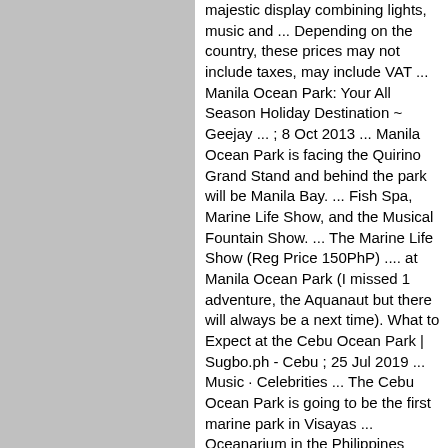[Figure (other): Gray rectangular panel on the left side of the page]
majestic display combining lights, music and ... Depending on the country, these prices may not include taxes, may include VAT ... Manila Ocean Park: Your All Season Holiday Destination ~ Geejay ... ; 8 Oct 2013 ... Manila Ocean Park is facing the Quirino Grand Stand and behind the park will be Manila Bay. ... Fish Spa, Marine Life Show, and the Musical Fountain Show. ... The Marine Life Show (Reg Price 150PhP) .... at Manila Ocean Park (I missed 1 adventure, the Aquanaut but there will always be a next time). What to Expect at the Cebu Ocean Park | Sugbo.ph - Cebu ; 25 Jul 2019 ... Music · Celebrities ... The Cebu Ocean Park is going to be the first marine park in Visayas ... Oceanarium in the Philippines (bigger than Manila Ocean Park) with ... Aquanaut ... #5: Location, Opening Date and Ticket Prices. Manila Ocean Park - Sweet Nothings ; We arrived at the Manila Ocean Park around half past 11AM and went straight to ... to Antarctica (Penguin Exhibit-Php300) at a discounted price of Php900 instead of ... The Marine Life and Musical Fountain shows have